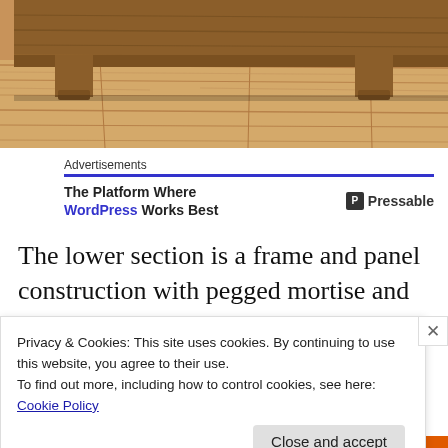[Figure (photo): Close-up photo of the bottom of a wooden piece of furniture (likely a dresser or cabinet) with carved feet legs, sitting on a light wood plank floor. The furniture is dark/warm brown wood.]
Advertisements
The Platform Where WordPress Works Best  [P] Pressable
The lower section is a frame and panel construction with pegged mortise and tenon joints. The lipped drawers are
Privacy & Cookies: This site uses cookies. By continuing to use this website, you agree to their use.
To find out more, including how to control cookies, see here: Cookie Policy
Close and accept